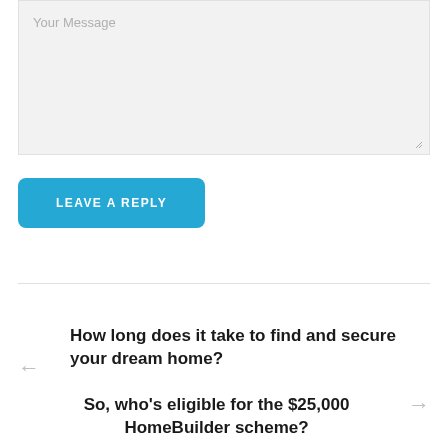[Figure (screenshot): A textarea form field with placeholder text 'Your Message' on a light grey background, with a resize handle in the bottom-right corner.]
LEAVE A REPLY
How long does it take to find and secure your dream home?
So, who's eligible for the $25,000 HomeBuilder scheme?